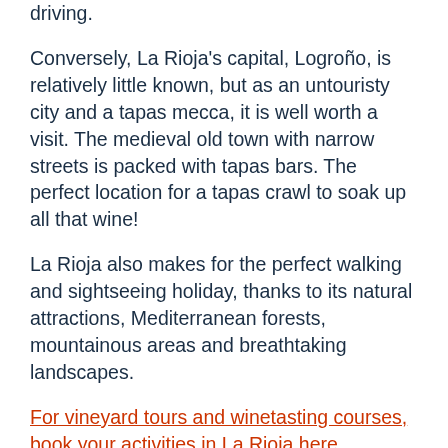driving.
Conversely, La Rioja's capital, Logroño, is relatively little known, but as an untouristy city and a tapas mecca, it is well worth a visit. The medieval old town with narrow streets is packed with tapas bars. The perfect location for a tapas crawl to soak up all that wine!
La Rioja also makes for the perfect walking and sightseeing holiday, thanks to its natural attractions, Mediterranean forests, mountainous areas and breathtaking landscapes.
For vineyard tours and winetasting courses, book your activities in La Rioja here.